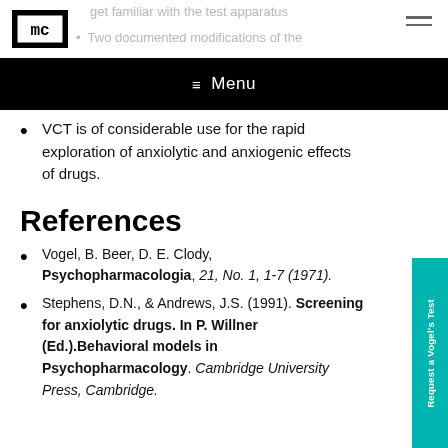get familiar with the test apparatus
Two documented modifications of the
VCT is of considerable use for the rapid exploration of anxiolytic and anxiogenic effects of drugs.
References
Vogel, B. Beer, D. E. Clody, Psychopharmacologia, 21, No. 1, 1-7 (1971).
Stephens, D.N., & Andrews, J.S. (1991). Screening for anxiolytic drugs. In P. Willner (Ed.).Behavioral models in Psychopharmacology. Cambridge University Press, Cambridge.